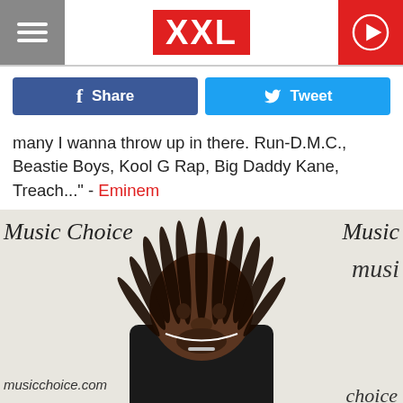XXL
Share  Tweet
many I wanna throw up in there. Run-D.M.C., Beastie Boys, Kool G Rap, Big Daddy Kane, Treach..." - Eminem
[Figure (photo): Person with long dreadlocks wearing a black shirt standing in front of a Music Choice backdrop at musicchoice.com]